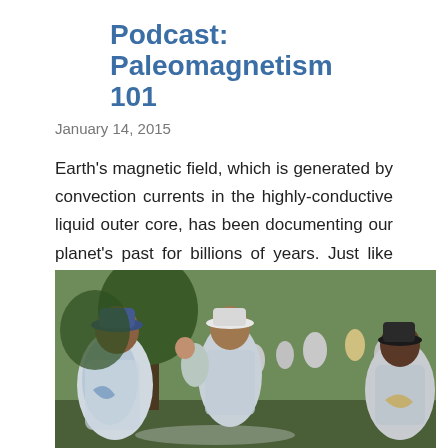Podcast: Paleomagnetism 101
January 14, 2015
Earth's magnetic field, which is generated by convection currents in the highly-conductive liquid outer core, has been documenting our planet's past for billions of years. Just like that of a standard bar magnet, our magnetic fie …
SHARE   POST A COMMENT   READ MORE
[Figure (photo): Outdoor scene with people wrapped in silver emergency/mylar blankets, standing on grass, appearing to be at a running event or marathon finish area. Multiple people in the background also wearing silver blankets.]